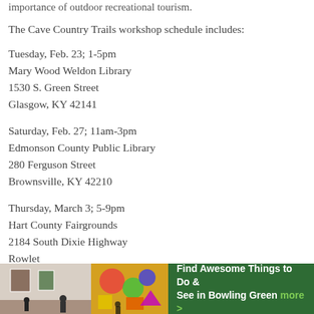importance of outdoor recreational tourism.
The Cave Country Trails workshop schedule includes:
Tuesday, Feb. 23; 1-5pm
Mary Wood Weldon Library
1530 S. Green Street
Glasgow, KY 42141
Saturday, Feb. 27; 11am-3pm
Edmonson County Public Library
280 Ferguson Street
Brownsville, KY 42210
Thursday, March 3; 5-9pm
Hart County Fairgrounds
2184 South Dixie Highway
Rowle...
[Figure (photo): Advertisement banner: museum/art gallery photo on left, colorful artwork in middle, green background on right with text 'Find Awesome Things to Do & See in Bowling Green more >']